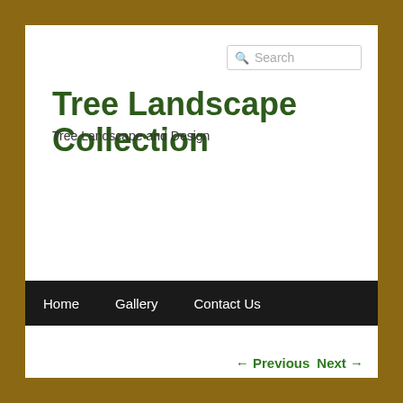[Figure (screenshot): Search box input field with magnifying glass icon and placeholder text 'Search']
Tree Landscape Collection
Tree Landscape and Design
Home    Gallery    Contact Us
← Previous    Next →